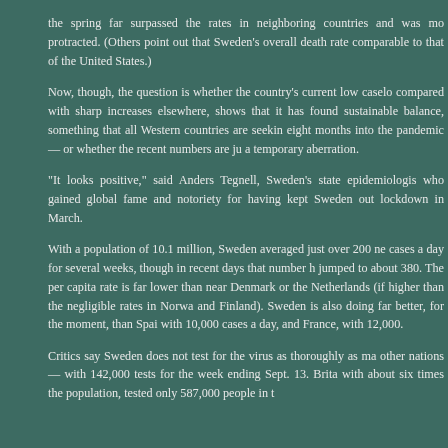the spring far surpassed the rates in neighboring countries and was more protracted. (Others point out that Sweden's overall death rate comparable to that of the United States.)
Now, though, the question is whether the country's current low caseload, compared with sharp increases elsewhere, shows that it has found a sustainable balance, something that all Western countries are seeking eight months into the pandemic — or whether the recent numbers are just a temporary aberration.
“It looks positive,” said Anders Tegnell, Sweden’s state epidemiologist, who gained global fame and notoriety for having kept Sweden out of lockdown in March.
With a population of 10.1 million, Sweden averaged just over 200 new cases a day for several weeks, though in recent days that number has jumped to about 380. The per capita rate is far lower than nearby Denmark or the Netherlands (if higher than the negligible rates in Norway and Finland). Sweden is also doing far better, for the moment, than Spain, with 10,000 cases a day, and France, with 12,000.
Critics say Sweden does not test for the virus as thoroughly as many other nations — with 142,000 tests for the week ending Sept. 13. Britain, with about six times the population, tested only 587,000 people in the